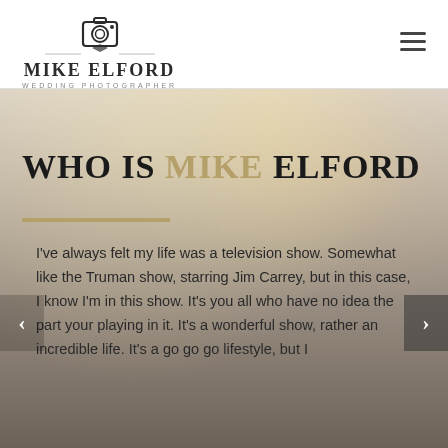MIKE ELFORD WEDDING PHOTOGRAPHER
WHO IS MIKE ELFORD
I've always felt my life was a television show. Somewhat like the Truman show, starring Jim Carrey, but in this case, I know I'm in this show. It's you all who have no idea the part your playing in it. It's a wonderful show, rather an incredible life. It's a go go go lifestyle, but I